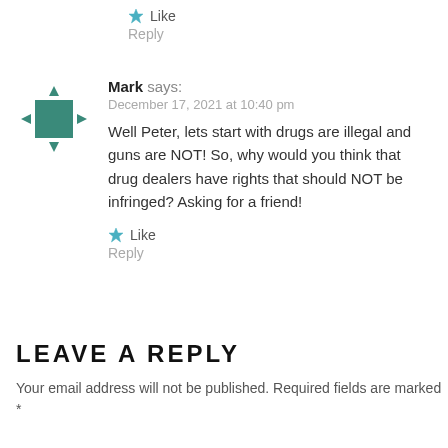★ Like
Reply
Mark says:
December 17, 2021 at 10:40 pm
Well Peter, lets start with drugs are illegal and guns are NOT! So, why would you think that drug dealers have rights that should NOT be infringed? Asking for a friend!
★ Like
Reply
LEAVE A REPLY
Your email address will not be published. Required fields are marked *